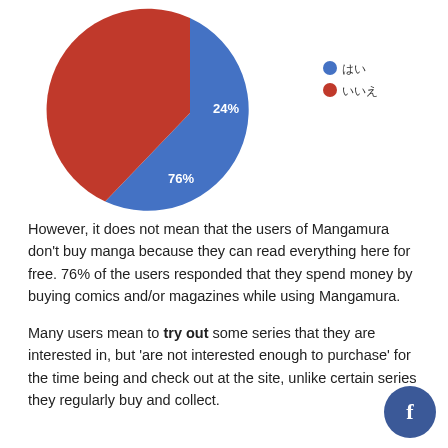[Figure (pie-chart): ]
However, it does not mean that the users of Mangamura don't buy manga because they can read everything here for free. 76% of the users responded that they spend money by buying comics and/or magazines while using Mangamura.
Many users mean to try out some series that they are interested in, but 'are not interested enough to purchase' for the time being and check out at the site, unlike certain series they regularly buy and collect.